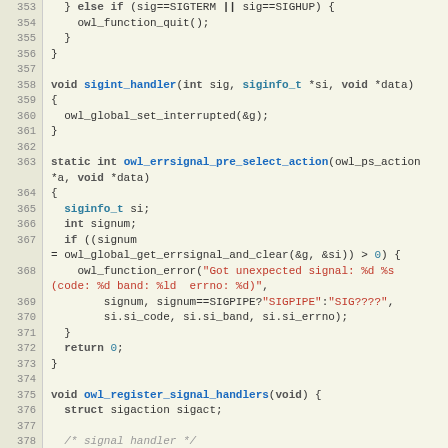[Figure (screenshot): Source code listing in C showing signal handler functions with syntax highlighting. Lines 353-382 visible. Line numbers shown in left gutter. Keywords in bold/dark, function names in blue, strings in red, types in teal.]